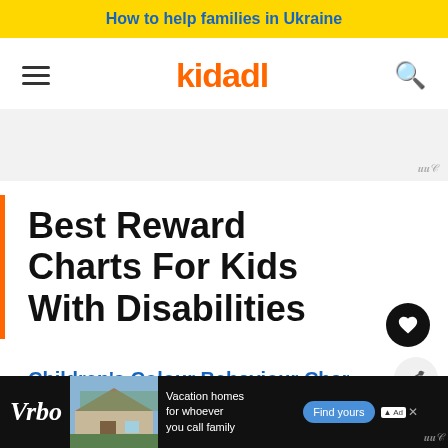How to help families in Ukraine
[Figure (logo): Kidadl website logo and navigation bar with hamburger menu and search icon]
[Figure (other): Top advertisement placeholder box]
Best Reward Charts For Kids With Disabilities
Children's Colour Behaviour Char
[Figure (other): Bottom advertisement banner with Vrbo logo, house image, 'Vacation homes for whoever you call family' text and Find yours button]